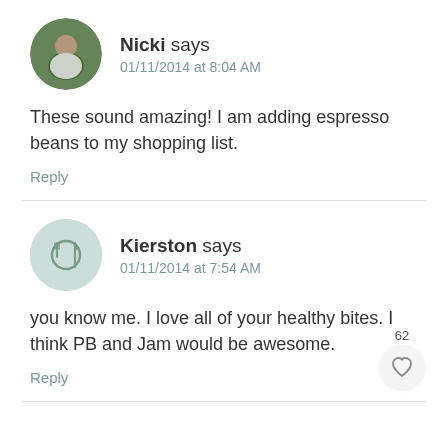[Figure (photo): Circular avatar photo of Nicki, showing a person outdoors with green foliage in background]
Nicki says
01/11/2014 at 8:04 AM
These sound amazing! I am adding espresso beans to my shopping list.
Reply
[Figure (illustration): Circular food/plate icon with fork and knife silhouette on light teal background, avatar for Kierston]
Kierston says
01/11/2014 at 7:54 AM
you know me. I love all of your healthy bites. I think PB and Jam would be awesome.
Reply
62